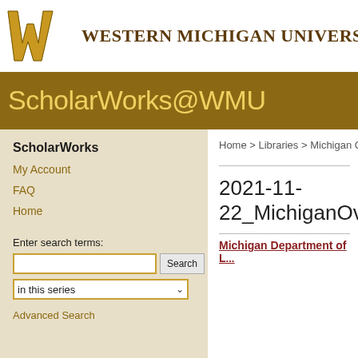[Figure (logo): Western Michigan University logo: gold W letter and serif text 'WESTERN MICHIGAN UNIVERSITY']
ScholarWorks@WMU
ScholarWorks
My Account
FAQ
Home
Enter search terms:
in this series
Advanced Search
Home > Libraries > Michigan C...
2021-11-22_MichiganOve...
Michigan Department of L...